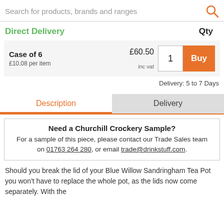Search for products, brands and ranges
Direct Delivery    Qty
| Product | Price | Qty | Action |
| --- | --- | --- | --- |
| Case of 6
£10.08 per item | £60.50
inc vat | 1 | Buy |
Delivery: 5 to 7 Days
Description    Delivery
Need a Churchill Crockery Sample?
For a sample of this piece, please contact our Trade Sales team on 01763 264 280, or email trade@drinkstuff.com.
Should you break the lid of your Blue Willow Sandringham Tea Pot you won't have to replace the whole pot, as the lids now come separately. With the